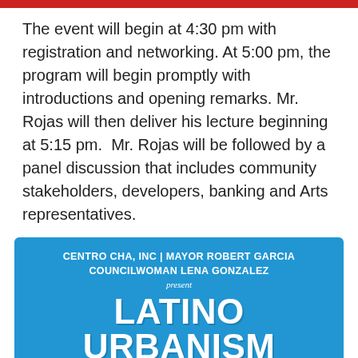The event will begin at 4:30 pm with registration and networking. At 5:00 pm, the program will begin promptly with introductions and opening remarks. Mr. Rojas will then deliver his lecture beginning at 5:15 pm. Mr. Rojas will be followed by a panel discussion that includes community stakeholders, developers, banking and Arts representatives.
[Figure (infographic): Event flyer for Latino Urbanism event. Blue background with white text. Header: CENTRO CHA, INC | MAYOR ROBERT GARCIA / COUNCILWOMAN LENA GONZALEZ / present. Large title: LATINO URBANISM. Subtitle: DEFINING A MODEL FOR ECONOMIC AND CULTURAL DEVELOPMENT. White rounded box at bottom with: THURSDAY, OCTOBER 13, 2016 / DOORS OPEN AT 4:30 PM / MUSEUM OF LATIN AMERICA ART]